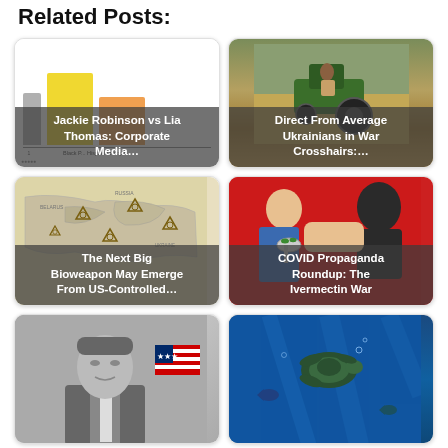Related Posts:
[Figure (illustration): Bar chart thumbnail image with yellow and orange bars — Jackie Robinson vs Lia Thomas: Corporate Media post card]
Jackie Robinson vs Lia Thomas: Corporate Media…
[Figure (photo): Photo of a farmer operating a green harvester/tractor — Direct From Average Ukrainians in War Crosshairs:… post card]
Direct From Average Ukrainians in War Crosshairs:…
[Figure (map): Map with biohazard symbols marking locations — The Next Big Bioweapon May Emerge From US-Controlled… post card]
The Next Big Bioweapon May Emerge From US-Controlled…
[Figure (illustration): Comic/meme style illustration of person eating — COVID Propaganda Roundup: The Ivermectin War post card]
COVID Propaganda Roundup: The Ivermectin War
[Figure (photo): Black and white photo of a man with US flag — partial view bottom row left]
[Figure (photo): Underwater/ocean scene with fish or creatures — partial view bottom row right]